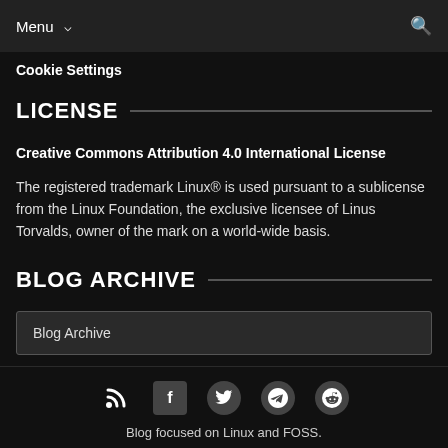Menu
Cookie Settings
LICENSE
Creative Commons Attribution 4.0 International License
The registered trademark Linux® is used pursuant to a sublicense from the Linux Foundation, the exclusive licensee of Linus Torvalds, owner of the mark on a world-wide basis.
BLOG ARCHIVE
Blog Archive
Blog focused on Linux and FOSS.